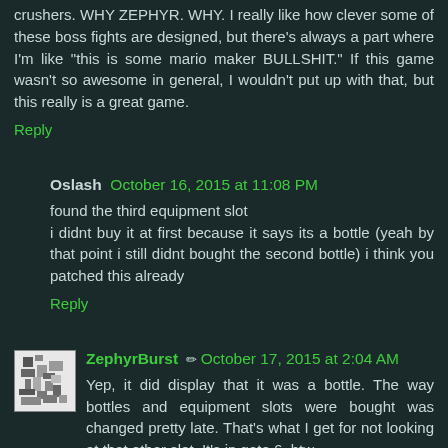crushers. WHY ZEPHYR. WHY. I really like how clever some of these boss fights are designed, but there's always a part where I'm like "this is some mario maker BULLSHIT." If this game wasn't so awesome in general, I wouldn't put up with that, but this really is a great game.
Reply
Oslash  October 16, 2015 at 11:08 PM
found the third equipment slot
i didnt buy it at first because it says its a bottle (yeah by that point i still didnt bought the second bottle) i think you patched this already
Reply
ZephyrBurst  October 17, 2015 at 2:04 AM
Yep, it did display that it was a bottle. The way bottles and equipment slots were bought was changed pretty late. That's what I get for not looking at that other slot. It's in gate 6, btw.